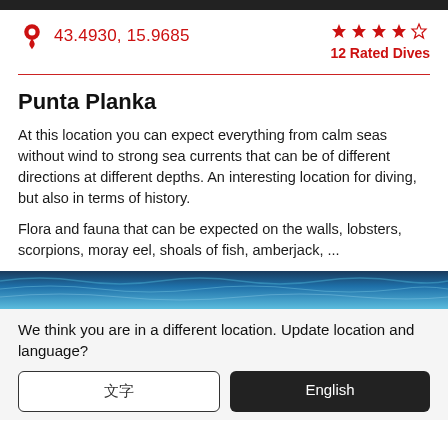43.4930, 15.9685
12 Rated Dives
Punta Planka
At this location you can expect everything from calm seas without wind to strong sea currents that can be of different directions at different depths. An interesting location for diving, but also in terms of history.
Flora and fauna that can be expected on the walls, lobsters, scorpions, moray eel, shoals of fish, amberjack, ...
[Figure (photo): Underwater photo strip showing blue ocean water surface]
We think you are in a different location. Update location and language?
🌐
English